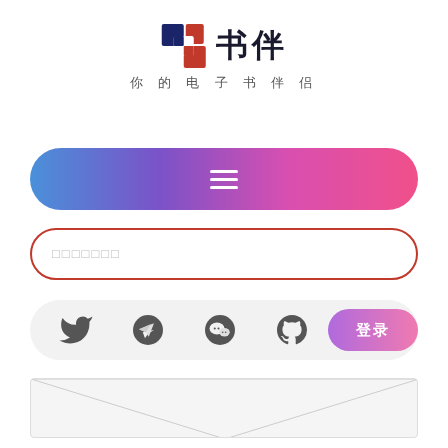[Figure (logo): 书伴 app logo - red and dark blue overlapping squares icon with Chinese text '书伴' and subtitle '你的电子书伴侣']
[Figure (infographic): Gradient pill-shaped button bar (blue to pink) with hamburger menu icon]
[Figure (infographic): Search input bar with red border and placeholder text (小方块placeholder)]
[Figure (infographic): Social media icons bar (Twitter, Telegram, WeChat, GitHub) with gradient login button '登录']
[Figure (illustration): Envelope/email icon partial view at bottom of page]